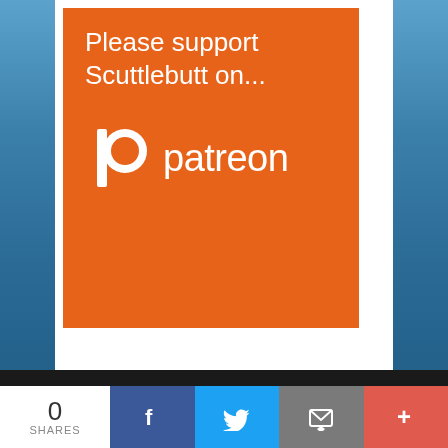[Figure (illustration): Orange Patreon promotional block with text 'Please support Scuttlebutt on...' and Patreon logo on orange background]
[Figure (logo): Scuttlebutt Sailing News logo in grey on dark background with social media icons (Facebook, Twitter)]
Launched in 1997, Scuttlebutt provides sailing news with a
[Figure (infographic): Bottom share bar showing 0 SHARES count, Facebook, Twitter, email, and more (+) share buttons]